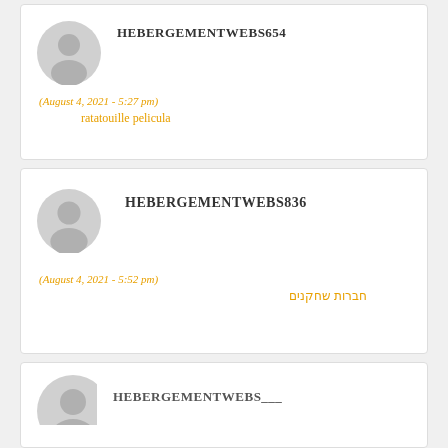[Figure (illustration): Gray avatar placeholder icon (silhouette of a person) for user HEBERGEMENTWEBS654]
HEBERGEMENTWEBS654
(August 4, 2021 - 5:27 pm)
ratatouille pelicula
[Figure (illustration): Gray avatar placeholder icon (silhouette of a person) for user HEBERGEMENTWEBS836]
HEBERGEMENTWEBS836
(August 4, 2021 - 5:52 pm)
חברות שחקנים
[Figure (illustration): Gray avatar placeholder icon (silhouette of a person, partially visible) for third user]
HEBERGEMENTWEBS___